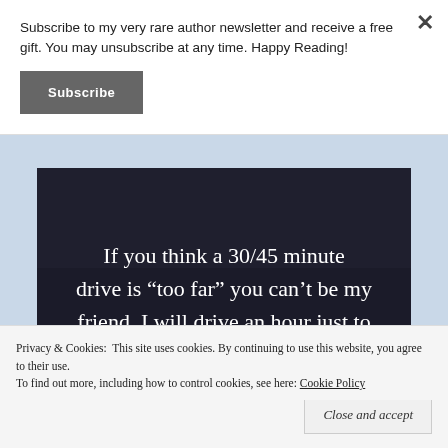Subscribe to my very rare author newsletter and receive a free gift. You may unsubscribe at any time. Happy Reading!
Subscribe
[Figure (photo): Dark background image with white serif text reading: If you think a 30/45 minute drive is “too far” you can’t be my friend. I will drive an hour just to]
Privacy & Cookies:  This site uses cookies. By continuing to use this website, you agree to their use.
To find out more, including how to control cookies, see here: Cookie Policy
Close and accept